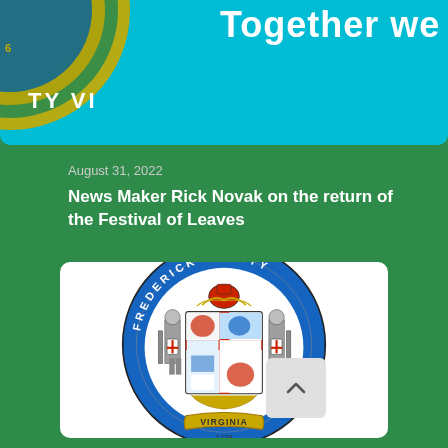[Figure (illustration): Top banner with cyan/teal background showing partial county seal on left and partial bold white text 'Together we are comm...' on right]
August 31, 2022
News Maker Rick Novak on the return of the Festival of Leaves
[Figure (logo): Frederick County Virginia official seal - circular blue seal with coat of arms featuring two armored knights, a shield divided into four quadrants with red cross, decorative crown at top, banner reading 'VIRGINIA' and '1738' at bottom, text 'FREDERICK COUNTY' around the border]